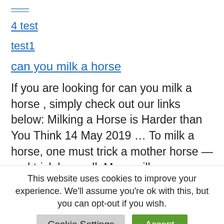4 test
test1
can you milk a horse
If you are looking for can you milk a horse , simply check out our links below: Milking a Horse is Harder than You Think 14 May 2019 … To milk a horse, one must trick a mother horse —and trick her well. Mare milk – Wikipedia Mare milk is milk lactated
This website uses cookies to improve your experience. We'll assume you're ok with this, but you can opt-out if you wish.